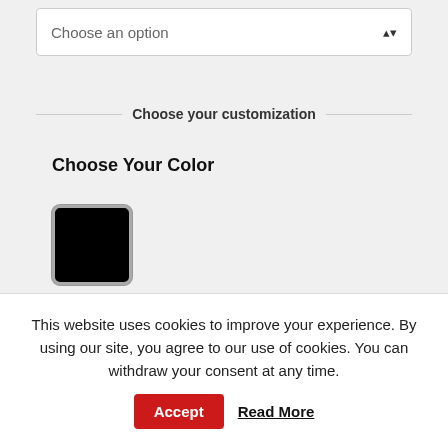Choose an option
Choose your customization
Choose Your Color
[Figure (other): Black color swatch square with rounded corners and grey border]
1
Add to cart
This website uses cookies to improve your experience. By using our site, you agree to our use of cookies. You can withdraw your consent at any time.
Accept
Read More